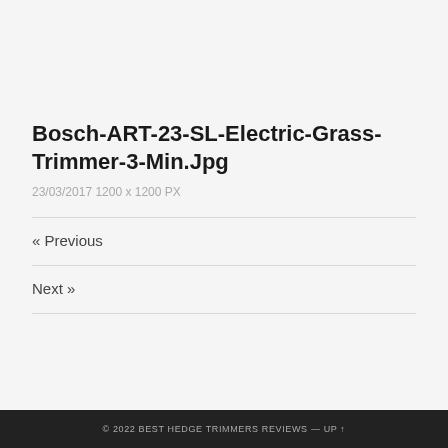Bosch-ART-23-SL-Electric-Grass-Trimmer-3-Min.Jpg
23/03/2017 1200 x 1200 PX
« Previous
Next »
© 2022 BEST HEDGE TRIMMERS REVIEWS — UP ↑